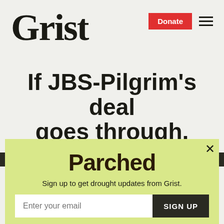Grist
If JBS-Pilgrim’s deal goes through, four mega-firms will
[Figure (infographic): Parched newsletter popup modal with email sign-up form on a yellow-green background. Contains the title 'Parched', subtitle 'Sign up to get drought updates from Grist.', an email input field, a 'SIGN UP' button, and a 'No thanks' link.]